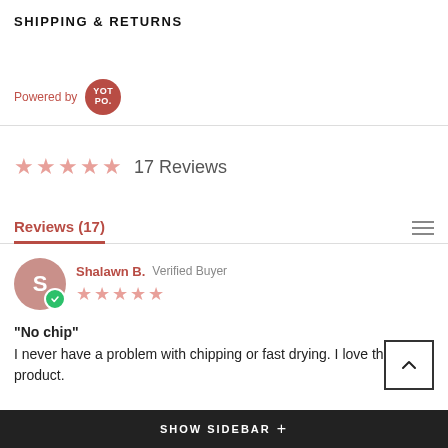SHIPPING & RETURNS
Powered by YOTPO
17 Reviews
Reviews (17)
Shalawn B. Verified Buyer
"No chip"
I never have a problem with chipping or fast drying. I love this product.
SHOW SIDEBAR +